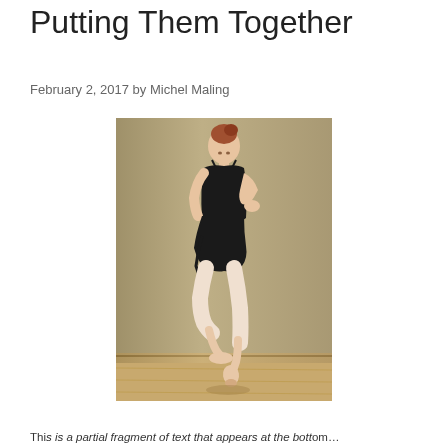Putting Them Together
February 2, 2017 by Michel Maling
[Figure (photo): A ballet dancer in a black leotard and skirt, wearing pointe shoes, bending forward with one hand on hip, standing on one foot en pointe in a dance studio with a tan/beige background and wooden floor.]
This is a partial fragment of text that appears at the bottom of the page.